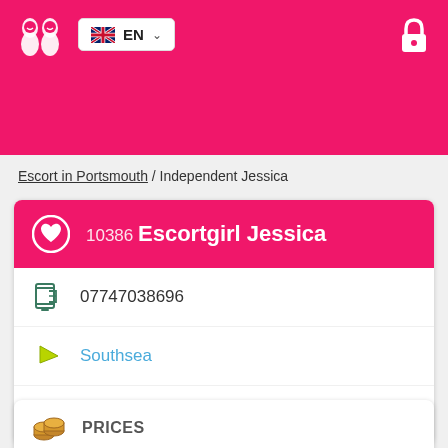[Figure (logo): Website logo with two figure icons on pink/red background]
EN (language selector with UK flag and dropdown arrow)
Escort in Portsmouth / Independent Jessica
10386 Escortgirl Jessica
07747038696
Southsea
Fratton
PRICES